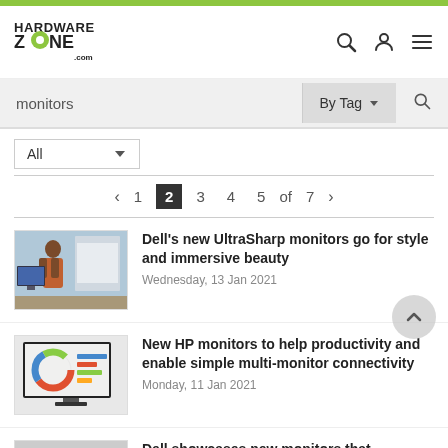[Figure (logo): HardwareZone.com logo with green circle]
monitors
By Tag
All
‹ 1 2 3 4 5 of 7 ›
[Figure (photo): Person using Dell UltraSharp monitor in an office]
Dell's new UltraSharp monitors go for style and immersive beauty
Wednesday, 13 Jan 2021
[Figure (photo): HP monitor on a desk showing colorful interface]
New HP monitors to help productivity and enable simple multi-monitor connectivity
Monday, 11 Jan 2021
[Figure (photo): Dell monitor thumbnail - partial view]
Dell showcases new monitors that